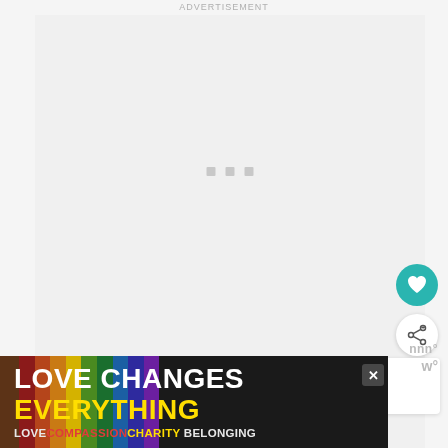ADVERTISEMENT
[Figure (other): Advertisement loading area with three small grey square loading dots in the center of a light grey rectangle]
[Figure (other): Teal circular heart/favorite button (FAB)]
[Figure (other): White circular share button (FAB) with share icon]
WHAT'S NEXT → Miami Design District: Fre...
nnn°
w°
[Figure (infographic): Advertisement banner with rainbow gradient background reading LOVE CHANGES EVERYTHING in white and yellow bold text, with tagline LOVE COMPASSION CHARITY BELONGING in colored text, and a close X button]